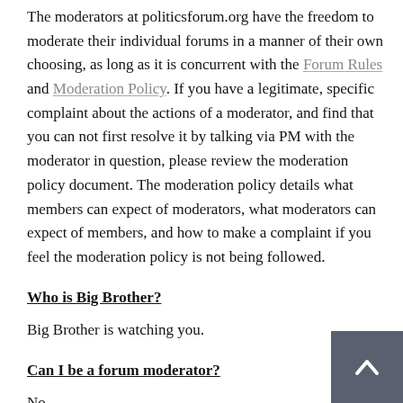The moderators at politicsforum.org have the freedom to moderate their individual forums in a manner of their own choosing, as long as it is concurrent with the Forum Rules and Moderation Policy. If you have a legitimate, specific complaint about the actions of a moderator, and find that you can not first resolve it by talking via PM with the moderator in question, please review the moderation policy document. The moderation policy details what members can expect of moderators, what moderators can expect of members, and how to make a complaint if you feel the moderation policy is not being followed.
Who is Big Brother?
Big Brother is watching you.
Can I be a forum moderator?
No.
Can I be an Administrator?